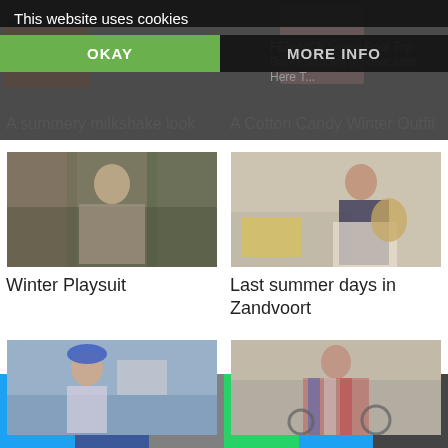This website uses cookies
OKAY
MORE INFO
A summery milkshake look
A Cotton Candy Winter Outfit
[Figure (photo): Woman in long grey coat on bridge, winter street style]
Winter Playsuit
[Figure (photo): Woman in navy blouse and floral skirt with wicker bag, summery indoor setting]
Last summer days in Zandvoort
[Figure (photo): Woman in blue beret and sunglasses near water]
[Figure (photo): Woman in striped kimono on bicycle in city]